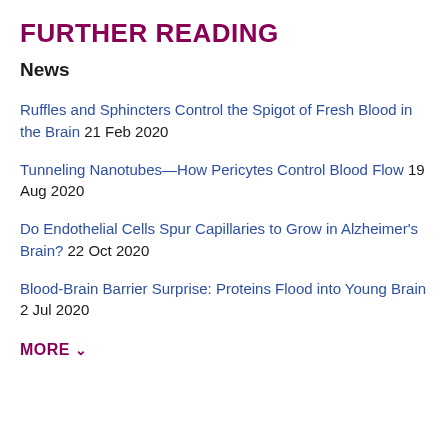FURTHER READING
News
Ruffles and Sphincters Control the Spigot of Fresh Blood in the Brain 21 Feb 2020
Tunneling Nanotubes—How Pericytes Control Blood Flow 19 Aug 2020
Do Endothelial Cells Spur Capillaries to Grow in Alzheimer's Brain? 22 Oct 2020
Blood-Brain Barrier Surprise: Proteins Flood into Young Brain 2 Jul 2020
MORE